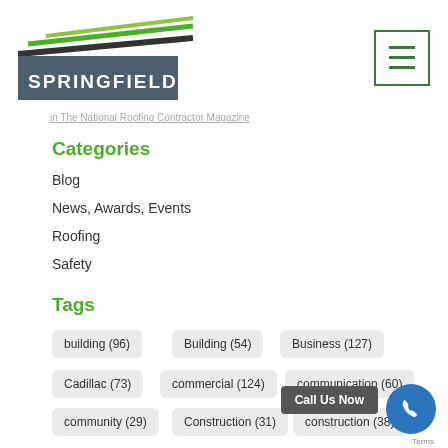[Figure (logo): Springfield company logo with green striped graphic above a dark grey box with white text SPRINGFIELD]
[Figure (other): Hamburger menu button with three green horizontal lines inside a green-bordered square]
in The National Roofing Contractor Magazine
Categories
Blog
News, Awards, Events
Roofing
Safety
Tags
building (96)
Building (54)
Business (127)
Cadillac (73)
commercial (124)
communication (60)
community (29)
Construction (31)
construction (38)
Call Us Now